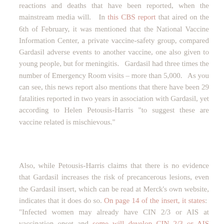reactions and deaths that have been reported, when the mainstream media will.   In this CBS report that aired on the 6th of February, it was mentioned that the National Vaccine Information Center, a private vaccine-safety group, compared Gardasil adverse events to another vaccine, one also given to young people, but for meningitis.   Gardasil had three times the number of Emergency Room visits – more than 5,000.   As you can see, this news report also mentions that there have been 29 fatalities reported in two years in association with Gardasil, yet according to Helen Petousis-Harris "to suggest these are vaccine related is mischievous."
Also, while Petousis-Harris claims that there is no evidence that Gardasil increases the risk of precancerous lesions, even the Gardasil insert, which can be read at Merck's own website, indicates that it does do so. On page 14 of the insert, it states:  "Infected women may already have CIN 2/3 or AIS at vaccination onset and some will develop CIN 2/3 or AIS during follow-up, either related to a vaccine..."